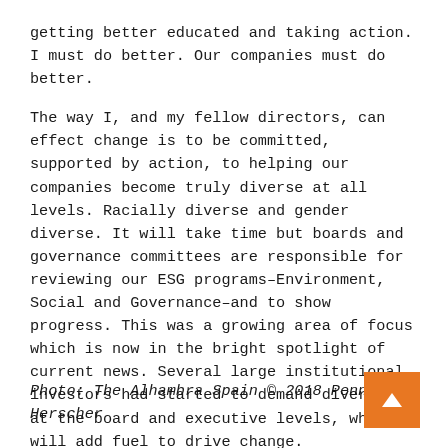getting better educated and taking action. I must do better. Our companies must do better.
The way I, and my fellow directors, can effect change is to be committed, supported by action, to helping our companies become truly diverse at all levels. Racially diverse and gender diverse. It will take time but boards and governance committees are responsible for reviewing our ESG programs–Environment, Social and Governance–and to show progress. This was a growing area of focus which is now in the bright spotlight of current news. Several large institutional investors had started to demand diversity at the board and executive levels, which will add fuel to drive change.
As directors we must ask the questions and require the metrics which will drive meaningful, ongoing improvement to racial diversity in our companies. It's past time.
Photo: The Alhambra Spain © 2018 Penny Herscher